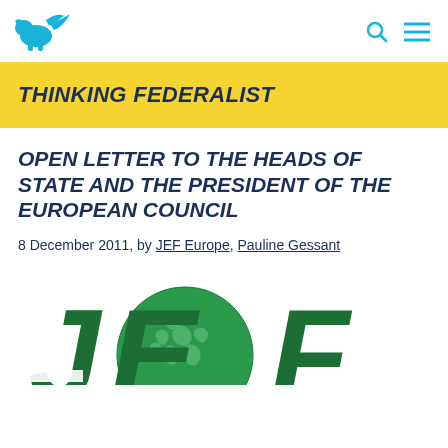[Figure (logo): JEF Europe blue bird/animal logo in top left corner]
Navigation header with search and menu icons
THINKING FEDERALIST
OPEN LETTER TO THE HEADS OF STATE AND THE PRESIDENT OF THE EUROPEAN COUNCIL
8 December 2011, by JEF Europe, Pauline Gessant
[Figure (logo): JEF Europe green logo with globe showing Europe map and large JEF letters, partially cropped at bottom of page]